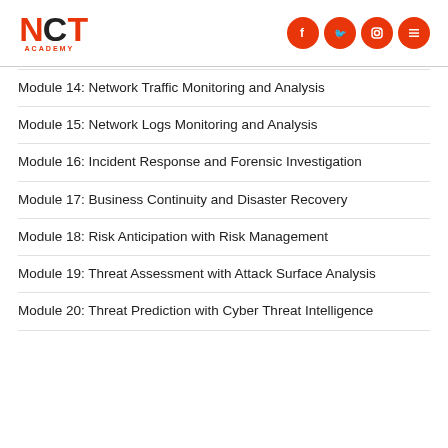NCT Academy
Module 14: Network Traffic Monitoring and Analysis
Module 15: Network Logs Monitoring and Analysis
Module 16: Incident Response and Forensic Investigation
Module 17: Business Continuity and Disaster Recovery
Module 18: Risk Anticipation with Risk Management
Module 19: Threat Assessment with Attack Surface Analysis
Module 20: Threat Prediction with Cyber Threat Intelligence